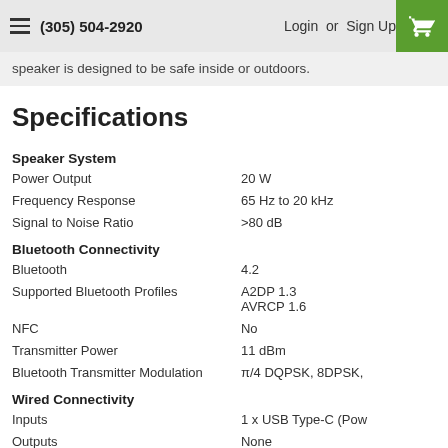(305) 504-2920  Login or Sign Up
speaker is designed to be safe inside or outdoors.
Specifications
| Specification | Value |
| --- | --- |
| Speaker System |  |
| Power Output | 20 W |
| Frequency Response | 65 Hz to 20 kHz |
| Signal to Noise Ratio | >80 dB |
| Bluetooth Connectivity |  |
| Bluetooth | 4.2 |
| Supported Bluetooth Profiles | A2DP 1.3
AVRCP 1.6 |
| NFC | No |
| Transmitter Power | 11 dBm |
| Bluetooth Transmitter Modulation | π/4 DQPSK, 8DPSK, |
| Wired Connectivity |  |
| Inputs | 1 x USB Type-C (Pow |
| Outputs | None |
| Battery |  |
| Capacity (mAh) | 4800 mAh |